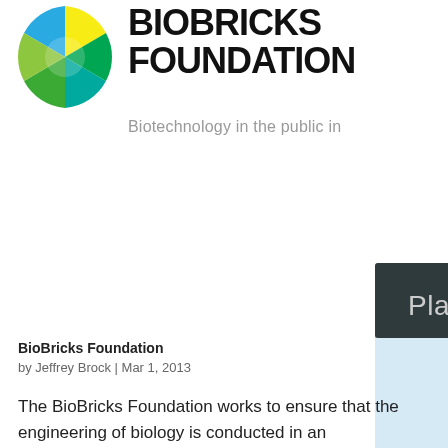[Figure (logo): BioBricks Foundation circular logo with green, yellow, and blue segments]
BIOBRICKS FOUNDATION
Biotechnology in the public in
[Figure (screenshot): Screenshot of a webpage showing 'Planning starts for BBF S' with green cartoon biology icons on a light blue background and a dark header bar]
BioBricks Foundation
by Jeffrey Brock | Mar 1, 2013
The BioBricks Foundation works to ensure that the engineering of biology is conducted in an